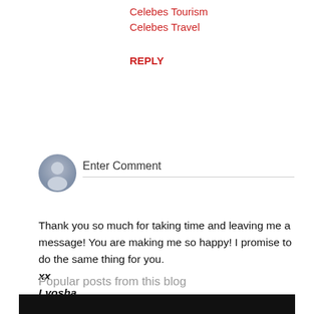Celebes Tourism
Celebes Travel
REPLY
[Figure (illustration): Grey avatar/user icon circle]
Enter Comment
Thank you so much for taking time and leaving me a message! You are making me so happy! I promise to do the same thing for you.
xx
Lyosha
Popular posts from this blog
[Figure (photo): Black image bar at the bottom]